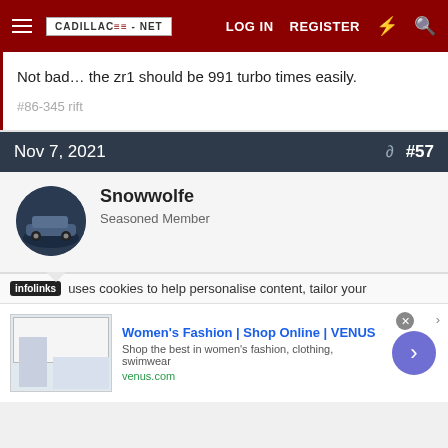CADILLAC-NET | LOG IN | REGISTER
Not bad… the zr1 should be 991 turbo times easily.
#86-345 rift
Nov 7, 2021  #57
Snowwolfe
Seasoned Member
infolinks uses cookies to help personalise content, tailor your
Women's Fashion | Shop Online | VENUS
Shop the best in women's fashion, clothing, swimwear
venus.com